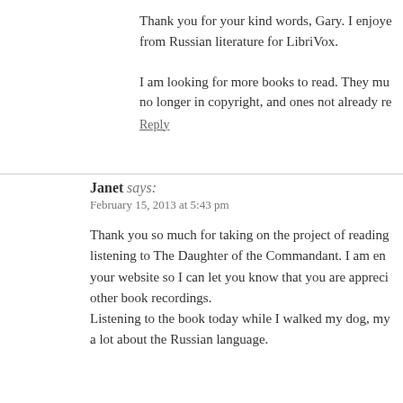Thank you for your kind words, Gary. I enjoyed reading from Russian literature for LibriVox.
I am looking for more books to read. They must be no longer in copyright, and ones not already re
Reply
Janet says:
February 15, 2013 at 5:43 pm
Thank you so much for taking on the project of reading listening to The Daughter of the Commandant. I am en your website so I can let you know that you are appreci other book recordings.
Listening to the book today while I walked my dog, my a lot about the Russian language.